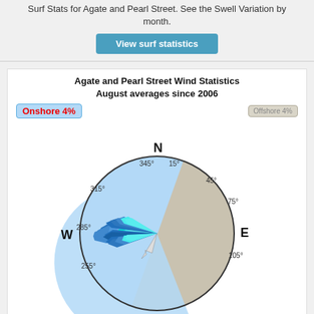Surf Stats for Agate and Pearl Street. See the Swell Variation by month.
View surf statistics
Agate and Pearl Street Wind Statistics August averages since 2006
Onshore 4%
Offshore 4%
[Figure (other): Wind rose diagram for Agate and Pearl Street showing August wind direction averages since 2006. The rose displays wind directions with compass labels N, E, W at perimeter and degree labels 15, 45, 75, 105, 255, 285, 315, 345. A blue shaded onshore sector occupies the western portion and a tan/beige shaded offshore sector the eastern portion. Wind frequency petals shown in blue and cyan colors pointing westward. A mean arrow indicator points toward ~255 degrees. A 'mean' legend label is shown at bottom left.]
mean